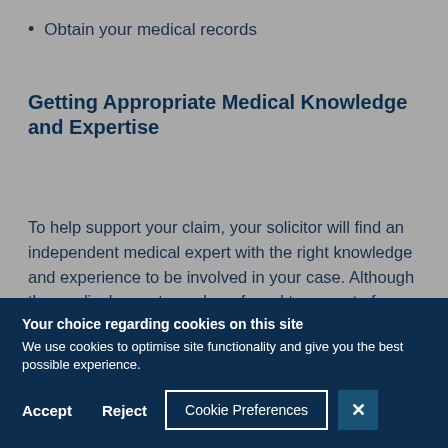Obtain your medical records
Getting Appropriate Medical Knowledge and Expertise
To help support your claim, your solicitor will find an independent medical expert with the right knowledge and experience to be involved in your case. Although the medical expert may be referred to as part of your ‘team’, the medical expert will have a duty to provide an
Your choice regarding cookies on this site
We use cookies to optimise site functionality and give you the best possible experience.
Accept   Reject   Cookie Preferences   ×